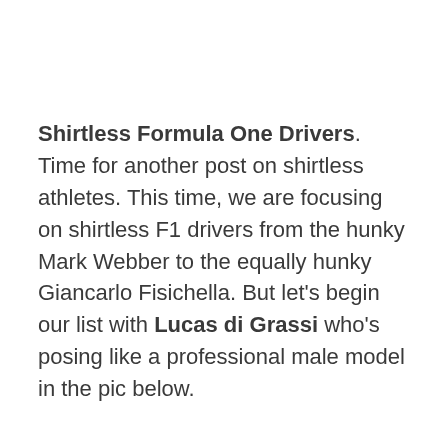Shirtless Formula One Drivers. Time for another post on shirtless athletes. This time, we are focusing on shirtless F1 drivers from the hunky Mark Webber to the equally hunky Giancarlo Fisichella. But let's begin our list with Lucas di Grassi who's posing like a professional male model in the pic below.